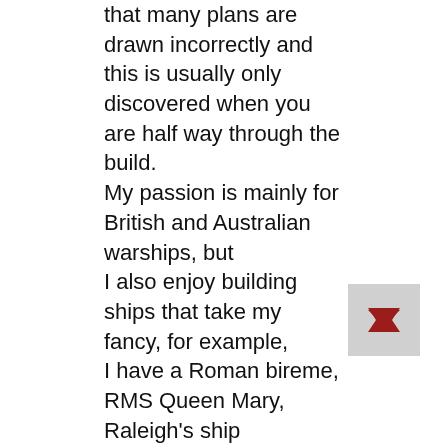that many plans are drawn incorrectly and this is usually only discovered when you are half way through the build. My passion is mainly for British and Australian warships, but I also enjoy building ships that take my fancy, for example, I have a Roman bireme, RMS Queen Mary, Raleigh's ship the Revenge and the two Dutch cruisers De Ruyter and Java involved in the Battle of the Java Sea. The largest ship in my collection is the RMS Queen Mary, with the smallest being HMAS Acute. I also have HMS Victoria, a pre-dreadnought,